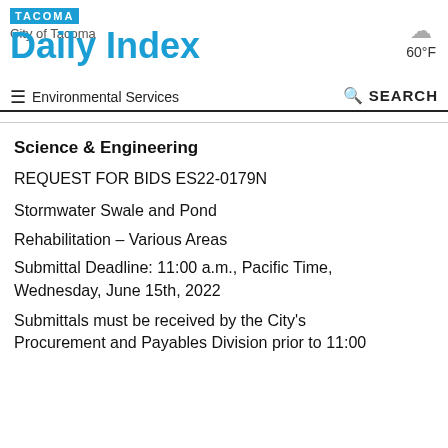TACOMA Daily Index — City of Tacoma | Environmental Services | SEARCH | 60°F
Science & Engineering
REQUEST FOR BIDS ES22-0179N
Stormwater Swale and Pond
Rehabilitation – Various Areas
Submittal Deadline: 11:00 a.m., Pacific Time, Wednesday, June 15th, 2022
Submittals must be received by the City's Procurement and Payables Division prior to 11:00